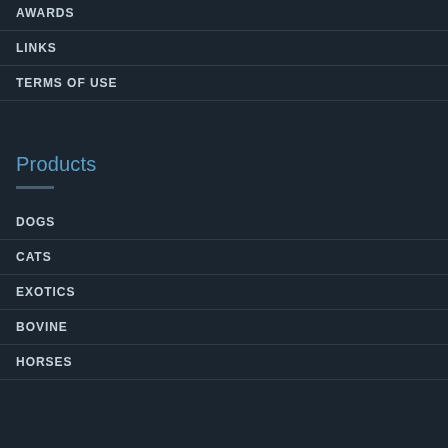AWARDS
LINKS
TERMS OF USE
Products
DOGS
CATS
EXOTICS
BOVINE
HORSES